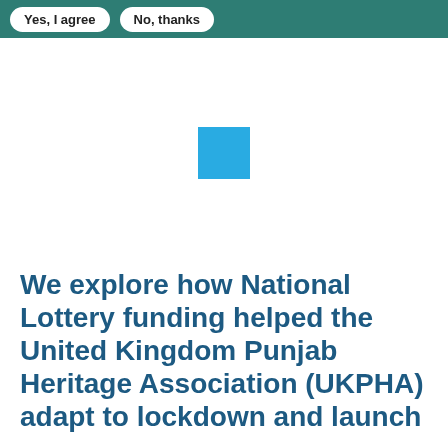Yes, I agree   No, thanks
[Figure (other): A small blue square loading indicator centered in white space]
We explore how National Lottery funding helped the United Kingdom Punjab Heritage Association (UKPHA) adapt to lockdown and launch